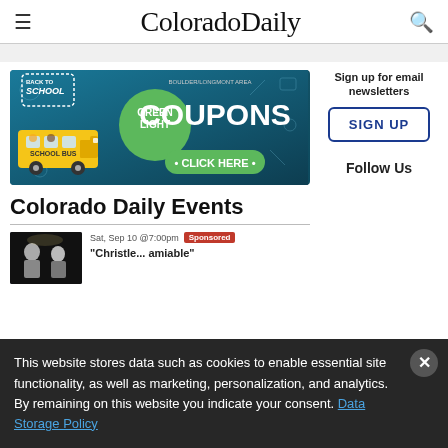ColoradoDaily
[Figure (illustration): Back to School Green Light Coupons ad banner with school bus illustration on teal/dark blue background. Text: BACK TO SCHOOL, GREEN LIGHT, COUPONS, BOULDER/LONGMONT AREA, • CLICK HERE •]
Sign up for email newsletters
SIGN UP
Colorado Daily Events
Sat, Sep 10 @ 7:00pm  Sponsored
[Figure (photo): Two people on a dark stage, event thumbnail photo]
"Christle... amiable"
Follow Us
This website stores data such as cookies to enable essential site functionality, as well as marketing, personalization, and analytics. By remaining on this website you indicate your consent. Data Storage Policy